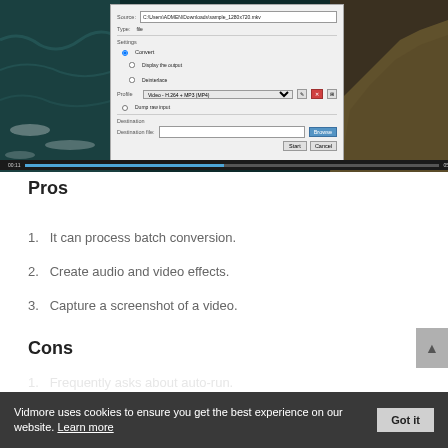[Figure (screenshot): Screenshot of a video converter application dialog window showing Source, Type, Settings fields with Convert option selected, Profile dropdown, Destination file input with Browse button, and Start/Cancel buttons. Background shows aerial ocean/coastal video footage. Progress bar at bottom shows playback position around 48% between 00:11 and 05:28.]
Pros
1.   It can process batch conversion.
2.   Create audio and video effects.
3.   Capture a screenshot of a video.
Cons
1.   Frequently asks about auto-run.
Vidmore uses cookies to ensure you get the best experience on our website. Learn more   Got it